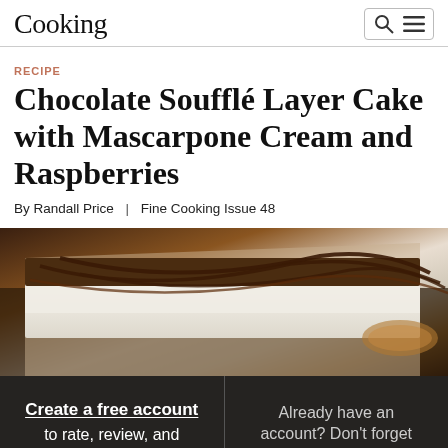Cooking
RECIPE
Chocolate Soufflé Layer Cake with Mascarpone Cream and Raspberries
By Randall Price | Fine Cooking Issue 48
[Figure (photo): Close-up photo of a chocolate soufflé layer cake slice with white cream filling and chocolate drizzle on top, dusted with powdered sugar, on a dark background]
Create a free account to rate, review, and save recipes. Already have an account? Don't forget to log in.